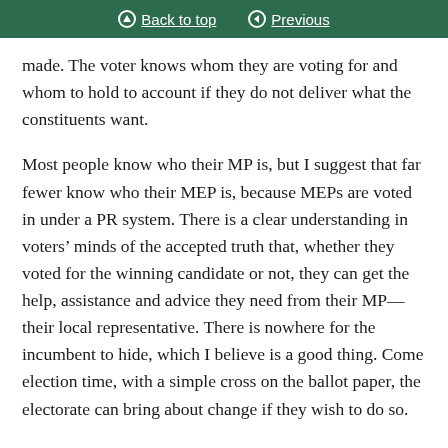Back to top | Previous
made. The voter knows whom they are voting for and whom to hold to account if they do not deliver what the constituents want.
Most people know who their MP is, but I suggest that far fewer know who their MEP is, because MEPs are voted in under a PR system. There is a clear understanding in voters’ minds of the accepted truth that, whether they voted for the winning candidate or not, they can get the help, assistance and advice they need from their MP—their local representative. There is nowhere for the incumbent to hide, which I believe is a good thing. Come election time, with a simple cross on the ballot paper, the electorate can bring about change if they wish to do so.